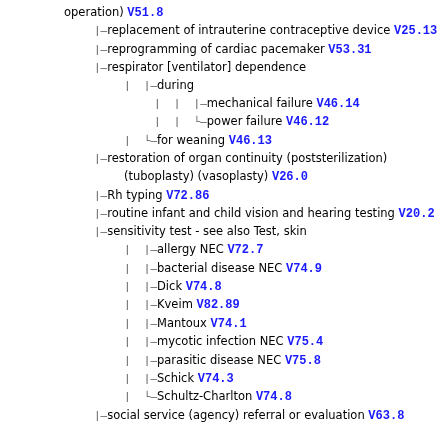operation) V51.8
replacement of intrauterine contraceptive device V25.13
reprogramming of cardiac pacemaker V53.31
respirator [ventilator] dependence
during
mechanical failure V46.14
power failure V46.12
for weaning V46.13
restoration of organ continuity (poststerilization) (tuboplasty) (vasoplasty) V26.0
Rh typing V72.86
routine infant and child vision and hearing testing V20.2
sensitivity test - see also Test, skin
allergy NEC V72.7
bacterial disease NEC V74.9
Dick V74.8
Kveim V82.89
Mantoux V74.1
mycotic infection NEC V75.4
parasitic disease NEC V75.8
Schick V74.3
Schultz-Charlton V74.8
social service (agency) referral or evaluation V63.8